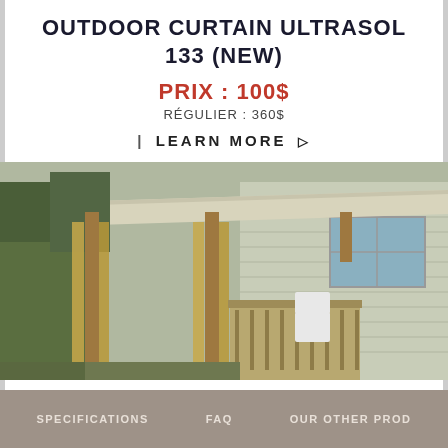OUTDOOR CURTAIN ULTRASOL 133 (NEW)
PRIX : 100$
RÉGULIER : 360$
| LEARN MORE ▷
[Figure (photo): Outdoor gazebo/pergola with hanging curtains attached to a house deck, beige roof, wooden posts]
OUTDOOR CURTAIN WALL
PRIX : 130$
RÉGULIER : 38 0$
SPECIFICATIONS   FAQ   OUR OTHER PROD